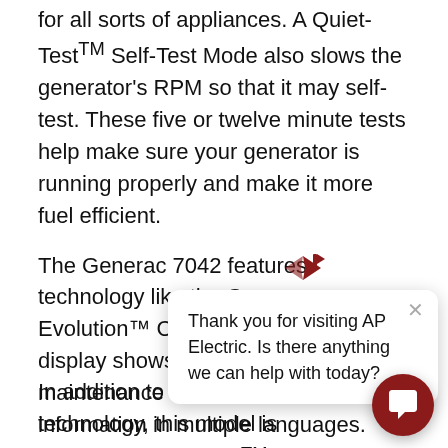for all sorts of appliances. A Quiet-TestTM Self-Test Mode also slows the generator's RPM so that it may self-test. These five or twelve minute tests help make sure your generator is running properly and make it more fuel efficient.
The Generac 7042 features technology like the Generac Evolution™ Controller. An LCD display shows you battery levels and maintenance schedules, and offers information in multiple languages. Plus, the Mobile LinkTM Remote Monitor [obscured by chat popup] from any distance. This [obscured] keep an eye on your uni[t] performing while you ar[e] details of its progress ar[e] need to be addressed. All it takes is an internet connection and computer or smart device to make sure that your unit is running efficiently while you are g[one]
[Figure (screenshot): Chat popup from AP Electric with logo icon, close button (×), and message: 'Thank you for visiting AP Electric. Is there anything we can help with today?' A dark red circular chat trigger button is in the bottom right corner.]
In addition to having modern technology, this model is